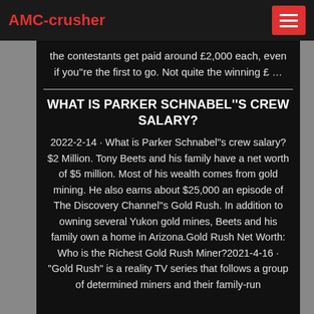AMC-crusher
the contestants get paid around £2,000 each, even if you''re the first to go. Not quite the winning £ …
WHAT IS PARKER SCHNABEL''S CREW SALARY?
2022-2-14 · What is Parker Schnabel''s crew salary? $2 Million. Tony Beets and his family have a net worth of $5 million. Most of his wealth comes from gold mining. He also earns about $25,000 an episode of The Discovery Channel''s Gold Rush. In addition to owning several Yukon gold mines, Beets and his family own a home in Arizona.Gold Rush Net Worth: Who is the Richest Gold Rush Miner?2021-4-16 · "Gold Rush" is a reality TV series that follows a group of determined miners and their family-run